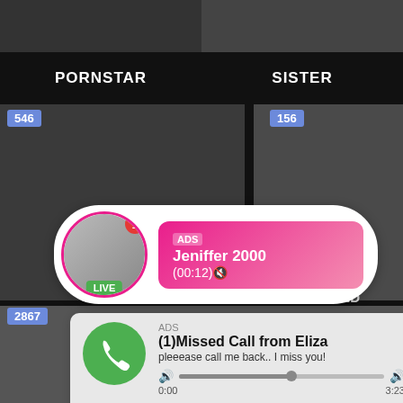PORNSTAR
SISTER
546
156
2867
[Figure (screenshot): Live notification card overlay with avatar, LIVE badge, pink content box showing ADS, Jeniffer 2000, (00:12)]
ADS
Jeniffer 2000
(00:12)🔇
MOTHER
BOYFRIEND
[Figure (screenshot): Missed call ad card showing green phone icon, ADS label, (1)Missed Call from Eliza, pleeease call me back.. I miss you!, audio progress bar, time 0:00 to 3:23, playback controls]
ADS
(1)Missed Call from Eliza
pleeease call me back.. I miss you!
0:00
3:23